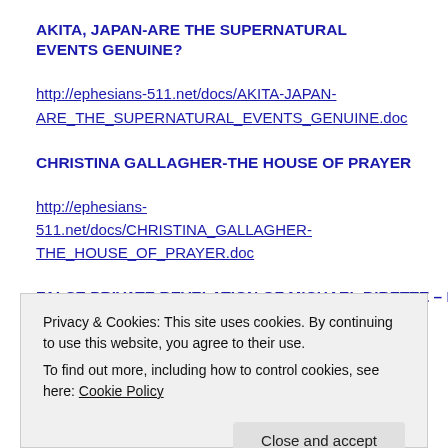AKITA, JAPAN-ARE THE SUPERNATURAL EVENTS GENUINE?
http://ephesians-511.net/docs/AKITA-JAPAN-ARE_THE_SUPERNATURAL_EVENTS_GENUINE.doc
CHRISTINA GALLAGHER-THE HOUSE OF PRAYER
http://ephesians-511.net/docs/CHRISTINA_GALLAGHER-THE_HOUSE_OF_PRAYER.doc
FALSE PRIVATE REVELATION OF MICHAEL BIRETTE – RON...
Privacy & Cookies: This site uses cookies. By continuing to use this website, you agree to their use.
To find out more, including how to control cookies, see here: Cookie Policy